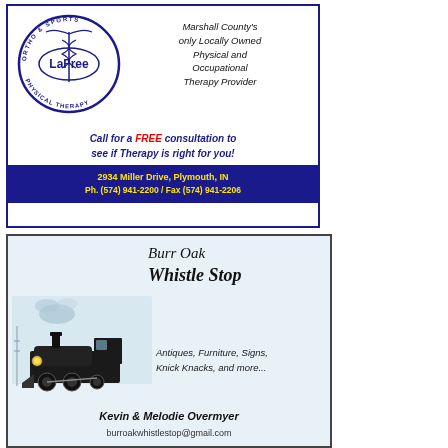[Figure (advertisement): LaFree Orthopedic & Sports Physical Therapy advertisement with logo, tagline about being Marshall County's only locally owned Physical and Occupational Therapy Provider, call to action for a FREE consultation, address 2934 Miller Drive Plymouth IN, phone (574) 941-2200, fax (574) 941-2206]
[Figure (advertisement): Burr Oak Whistle Stop advertisement with vintage steam train illustration, offering Antiques, Furniture, Signs, Knick Knacks and more, owned by Kevin & Melodie Overmyer, email burroakwhistlestop@gmail.com]